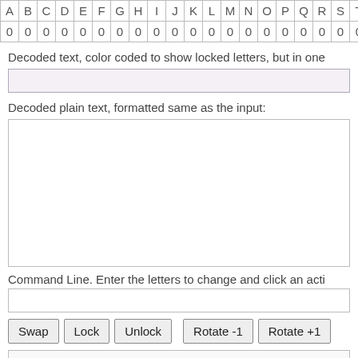| A | B | C | D | E | F | G | H | I | J | K | L | M | N | O | P | Q | R | S | T | U |
| --- | --- | --- | --- | --- | --- | --- | --- | --- | --- | --- | --- | --- | --- | --- | --- | --- | --- | --- | --- | --- |
| 0 | 0 | 0 | 0 | 0 | 0 | 0 | 0 | 0 | 0 | 0 | 0 | 0 | 0 | 0 | 0 | 0 | 0 | 0 | 0 | 0 |
Decoded text, color coded to show locked letters, but in one...
Decoded plain text, formatted same as the input:
Command Line. Enter the letters to change and click an acti...
Swap | Lock | Unlock | Rotate -1 | Rotate +1